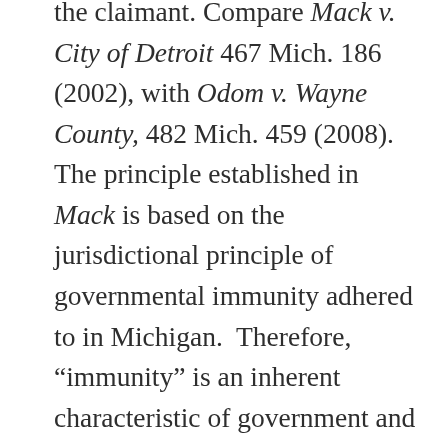the claimant. Compare Mack v. City of Detroit 467 Mich. 186 (2002), with Odom v. Wayne County, 482 Mich. 459 (2008).  The principle established in Mack is based on the jurisdictional principle of governmental immunity adhered to in Michigan.  Therefore, “immunity” is an inherent characteristic of government and cannot be waived without explicit consent of the Legislature.  Thus, merely pleading facts in avoidance of immunity, without more, is insufficient to invoke the subject-matter jurisdiction of the courts over the cause of action.